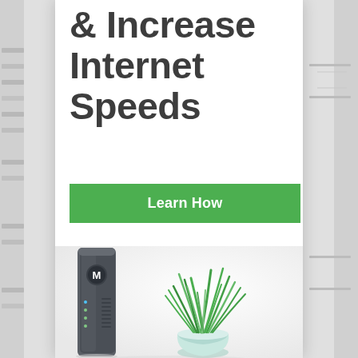& Increase Internet Speeds
Learn How
[Figure (photo): Motorola modem/router device (tall slim dark gray device with Motorola logo) next to a green plant in a light blue/white pot, on a white background]